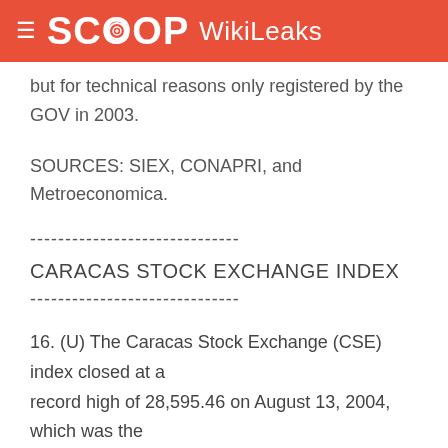SCOOP WikiLeaks
but for technical reasons only registered by the GOV in 2003.
SOURCES: SIEX, CONAPRI, and Metroeconomica.
------------------------------
CARACAS STOCK EXCHANGE INDEX
------------------------------
16. (U) The Caracas Stock Exchange (CSE) index closed at a record high of 28,595.46 on August 13, 2004, which was the working day just before the Presidential Referendum,